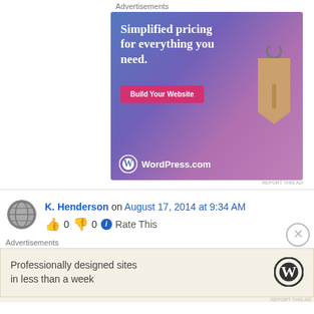Advertisements
[Figure (illustration): WordPress.com advertisement banner with gradient blue-to-pink background, price tag graphic, text 'Simplified pricing for everything you need.', pink 'Build Your Website' button, and WordPress.com logo.]
REPORT THIS AD
K. Henderson on August 17, 2014 at 9:34 AM
👍 0 👎 0 ℹ Rate This
Advertisements
Professionally designed sites in less than a week
REPORT THIS AD